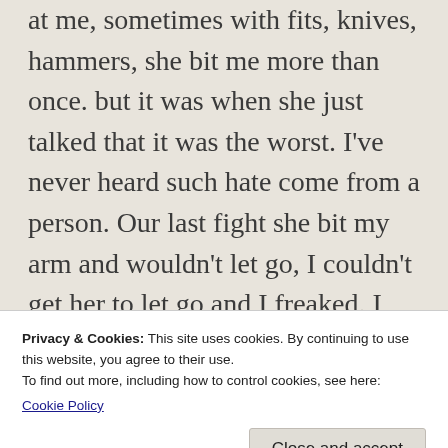at me, sometimes with fits, knives, hammers, she bit me more than once. but it was when she just talked that it was the worst. I've never heard such hate come from a person. Our last fight she bit my arm and wouldn't let go, I couldn't get her to let go and I freaked. I just started hitting her in the top of the head. She finally let go, but I ended up giving her a concussion. That was what scared me the most, was that she was able to get me to lose control
Privacy & Cookies: This site uses cookies. By continuing to use this website, you agree to their use.
To find out more, including how to control cookies, see here:
Cookie Policy
love you and want you in their lives will.